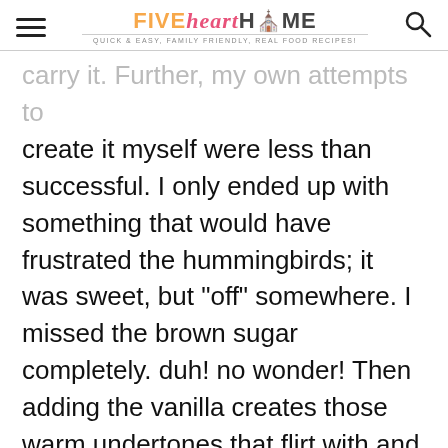FIVE heart HOME — QUICK & EASY, FAMILY FRIENDLY, REAL FOOD RECIPES!
carry it. Further, my own attempts to create it myself were less than successful. I only ended up with something that would have frustrated the hummingbirds; it was sweet, but "off" somewhere. I missed the brown sugar completely. duh! no wonder! Then adding the vanilla creates those warm undertones that flirt with and entice the tongue on a chilly fall morning. Thanks so much! Another mystery solved!